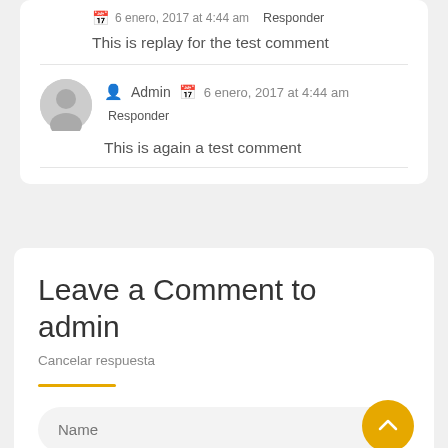6 enero, 2017 at 4:44 am   Responder
This is replay for the test comment
Admin   6 enero, 2017 at 4:44 am   Responder
This is again a test comment
Leave a Comment to admin
Cancelar respuesta
Name